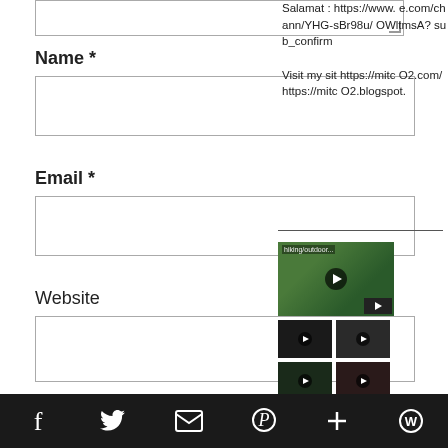Comment textarea (top, truncated)
Name *
Email *
Website
Captcha / reCAPTCHA area
Salamat : https://www.e.com/chann/YHG-sBr98u/OWltmsA?sub_confirm

Visit my sit https://mitc O2.com/ https://mitc O2.blogspot.
[Figure (screenshot): Video thumbnail grid with play buttons — one large thumbnail showing outdoor scene, and multiple smaller dark thumbnails with play buttons]
[Figure (screenshot): Social media share bar with icons: Facebook, Twitter, Email, Pinterest, Plus, WordPress on dark background]